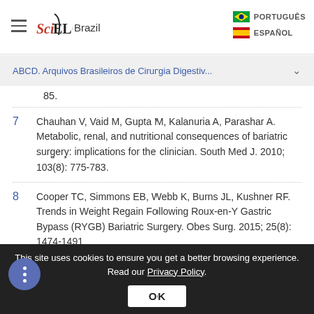SciELO Brazil — PORTUGUES | ESPANOL
ABCD. Arquivos Brasileiros de Cirurgia Digestiv...
85.
7  Chauhan V, Vaid M, Gupta M, Kalanuria A, Parashar A. Metabolic, renal, and nutritional consequences of bariatric surgery: implications for the clinician. South Med J. 2010; 103(8): 775-783.
8  Cooper TC, Simmons EB, Webb K, Burns JL, Kushner RF. Trends in Weight Regain Following Roux-en-Y Gastric Bypass (RYGB) Bariatric Surgery. Obes Surg. 2015; 25(8): 1474-1481
This site uses cookies to ensure you get a better browsing experience. Read our Privacy Policy.